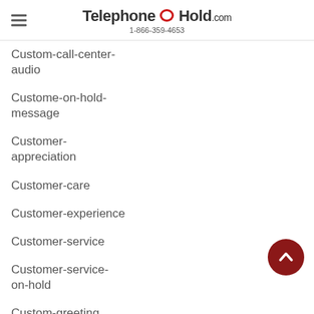TelephoneOnHold.com 1-866-359-4653
Custom-call-center-audio
Custome-on-hold-message
Customer-appreciation
Customer-care
Customer-experience
Customer-service
Customer-service-on-hold
Custom-greeting
Custom-greeting